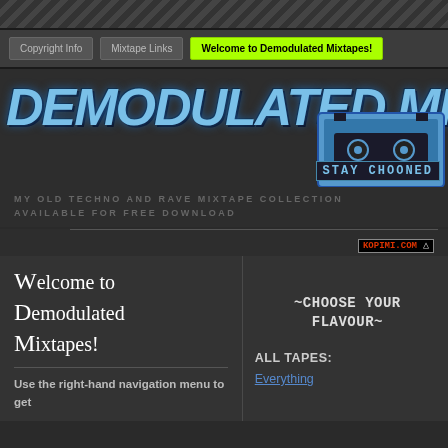Copyright Info | Mixtape Links | Welcome to Demodulated Mixtapes!
[Figure (logo): Graffiti-style blue logo text reading 'DEMODULATED MIX' with pixel art cassette tape and 'STAY CHOONED' text]
MY OLD TECHNO AND RAVE MIXTAPE COLLECTION AVAILABLE FOR FREE DOWNLOAD
KOPIMI.COM
Welcome to Demodulated Mixtapes!
~CHOOSE YOUR FLAVOUR~
Use the right-hand navigation menu to get
ALL TAPES:
Everything